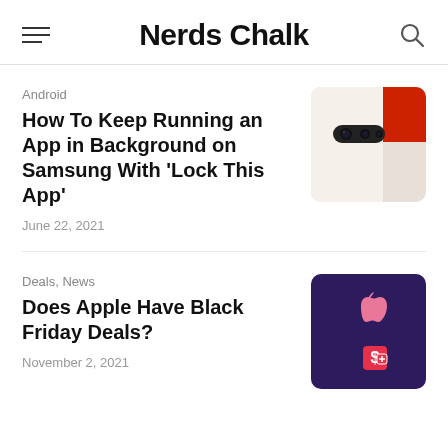Nerds Chalk
Android
How To Keep Running an App in Background on Samsung With 'Lock This App'
June 22, 2021
[Figure (photo): Samsung phone camera module on red and white background]
Deals, News
Does Apple Have Black Friday Deals?
November 2, 2021
[Figure (photo): Apple logo in pink on dark purple background with a price tag icon]